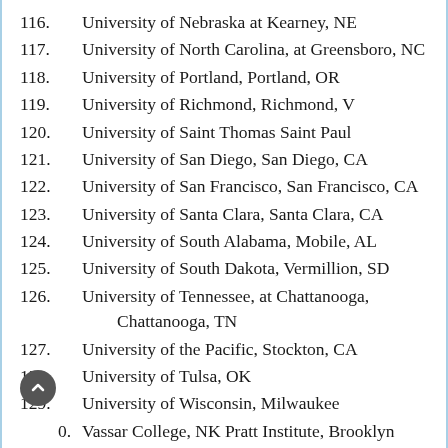116. University of Nebraska at Kearney, NE
117. University of North Carolina, at Greensboro, NC
118. University of Portland, Portland, OR
119. University of Richmond, Richmond, V
120. University of Saint Thomas Saint Paul
121. University of San Diego, San Diego, CA
122. University of San Francisco, San Francisco, CA
123. University of Santa Clara, Santa Clara, CA
124. University of South Alabama, Mobile, AL
125. University of South Dakota, Vermillion, SD
126. University of Tennessee, at Chattanooga, Chattanooga, TN
127. University of the Pacific, Stockton, CA
128. University of Tulsa, OK
129. University of Wisconsin, Milwaukee
130. Vassar College, NK Pratt Institute, Brooklyn